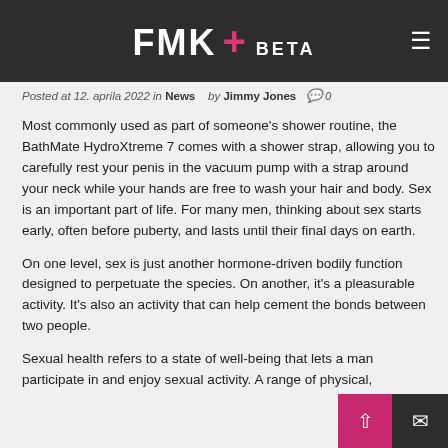FMK+ BETA
Posted at 12. aprila 2022 in News   by Jimmy Jones  🗨 0
Most commonly used as part of someone's shower routine, the BathMate HydroXtreme 7 comes with a shower strap, allowing you to carefully rest your penis in the vacuum pump with a strap around your neck while your hands are free to wash your hair and body. Sex is an important part of life. For many men, thinking about sex starts early, often before puberty, and lasts until their final days on earth.
On one level, sex is just another hormone-driven bodily function designed to perpetuate the species. On another, it's a pleasurable activity. It's also an activity that can help cement the bonds between two people.
Sexual health refers to a state of well-being that lets a man participate in and enjoy sexual activity. A range of physical,